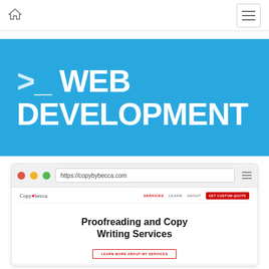Home / Menu navigation bar
>_ WEB DEVELOPMENT
[Figure (screenshot): Browser window screenshot showing the copybybecca.com website with navigation bar showing SERVICES, LEARN, ABOUT links and GET CUSTOM QUOTE button, and headline text 'Proofreading and Copy Writing Services' with a LEARN MORE ABOUT MY SERVICES button]